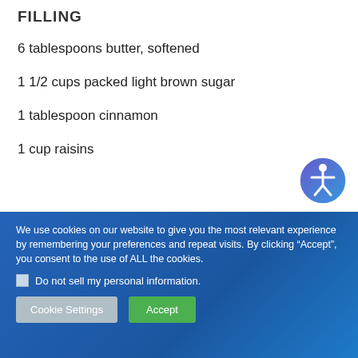FILLING
6 tablespoons butter, softened
1 1/2 cups packed light brown sugar
1 tablespoon cinnamon
1 cup raisins
We use cookies on our website to give you the most relevant experience by remembering your preferences and repeat visits. By clicking “Accept”, you consent to the use of ALL the cookies.
Do not sell my personal information.
Cookie Settings  Accept